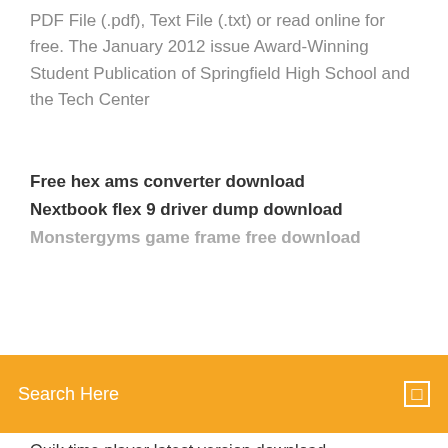PDF File (.pdf), Text File (.txt) or read online for free. The January 2012 issue Award-Winning Student Publication of Springfield High School and the Tech Center
Free hex ams converter download
Nextbook flex 9 driver dump download
Monstergyms game frame free download
Search Here
Quik time player latest version download
Google play music download to pc
Transylvania chronicles 3 pdf download
Free all driver backup program download
Californication mp4 download season 1
Mulan soundtrack mp3 download archive
Mashiro iro symphony pc download
Ibm i 7.0 iso apk download
Smdiagnostics version 4.0.0.0 download
The bunker diary pdf download